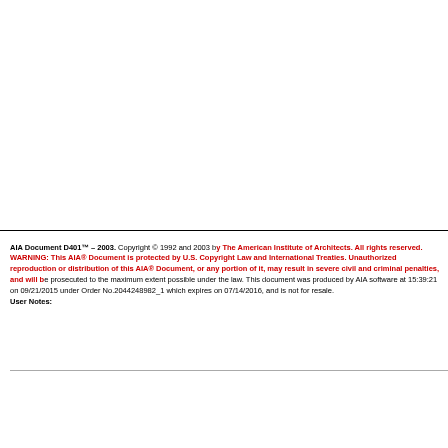AIA Document D401™ – 2003. Copyright © 1992 and 2003 by The American Institute of Architects. All rights reserved. WARNING: This AIA® Document is protected by U.S. Copyright Law and International Treaties. Unauthorized reproduction or distribution of this AIA® Document, or any portion of it, may result in severe civil and criminal penalties, and will be prosecuted to the maximum extent possible under the law. This document was produced by AIA software at 15:39:21 on 09/21/2015 under Order No.2044248982_1 which expires on 07/14/2016, and is not for resale. User Notes: